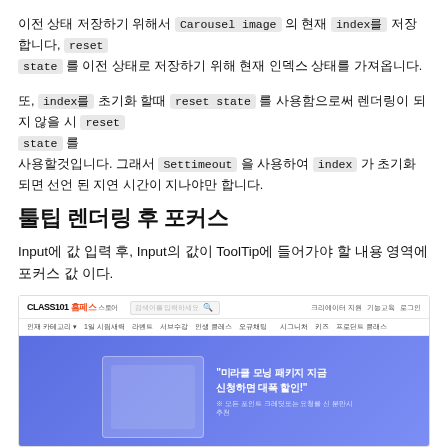이전 상태 저장하기 위해서 Carousel image 의 현재 index를 저장 합니다, reset state 를 이전 상태로 저장하기 위해 현재 인덱스 상태를 가져옵니다.
또, index를 초기화 할때 reset state 를 사용함으로써 렌더링이 되지 않을 시 reset state 를 사용할것입니다. 그래서 Settimeout 을 사용하여 index 가 초기화 되면 선언 된 지연 시간이 지나야만 합니다.
툴팁 렌더링 후 포커스
Input에 값 입력 후, Input의 값이 ToolTip에 들어가야 할 내용 영역에 포커스 값 이다.
[Figure (screenshot): Screenshot of CLASS101 website showing navigation bar with logo, search bar, and menu items, and a hero banner with purple/blue gradient background displaying Korean text '미라클 모닝 패키지 지금 신청하면 대폭 할인!']